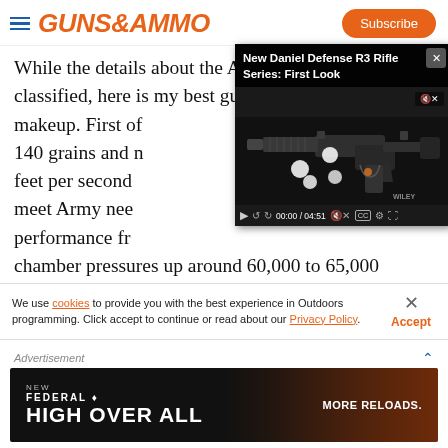GUNS&AMMO | Subscribe
While the details about the Army's projectile are still classified, here is my best guess on its potential makeup. First of all, it would be between 120 and 140 grains and travel at velocities greater than 3,000 feet per second. It would also have to be designed to meet Army needs at extended ranges while maintaining performance from standard rifle-length barrels. The chamber pressures up around 60,000 to 65,000
[Figure (screenshot): Video player overlay showing 'New Daniel Defense R3 Rifle Series: First Look' video thumbnail with a black AR-15 style rifle on dark background. Controls show 00:00 / 04:51 timecode.]
We use cookies to provide you with the best experience in Outdoors programming. Click accept to continue or read about our Privacy Policy.
Advertisement
[Figure (photo): Federal ammunition advertisement banner: 'NEW FEDERAL HIGH OVER ALL. MORE RELOADS.' on dark background with ammunition imagery.]